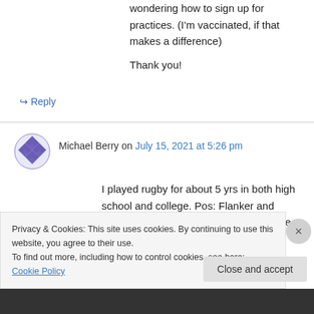wondering how to sign up for practices. (I'm vaccinated, if that makes a difference)

Thank you!
↳ Reply
Michael Berry on July 15, 2021 at 5:26 pm
I played rugby for about 5 yrs in both high school and college. Pos: Flanker and Outside Center. Lookingcto join a league as the world's back
Privacy & Cookies: This site uses cookies. By continuing to use this website, you agree to their use.
To find out more, including how to control cookies, see here: Cookie Policy
Close and accept